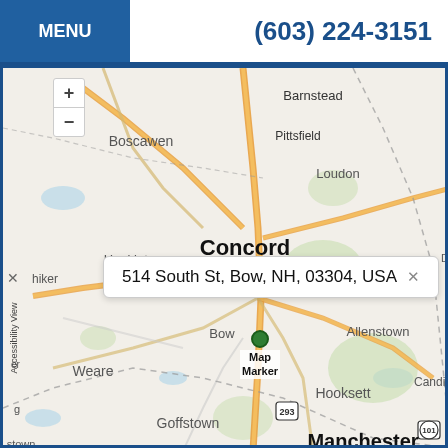MENU   (603) 224-3151
[Figure (map): Street map showing the area around Concord, NH with surrounding towns including Boscawen, Loudon, Barnstead, Pittsfield, Hopkinton, Pembroke, Allenstown, Bow, Weare, Hooksett, Candia, Goffstown, and Manchester. A marker is placed at 514 South St, Bow, NH, 03304, USA with an info popup visible.]